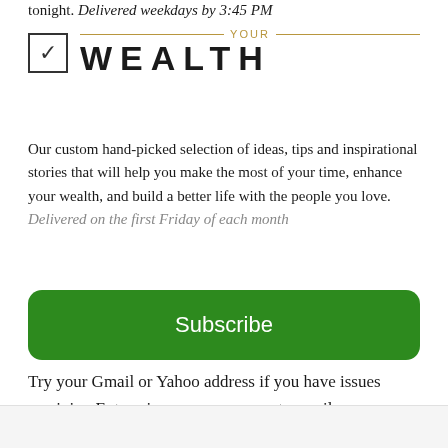tonight. Delivered weekdays by 3:45 PM
YOUR WEALTH
Our custom hand-picked selection of ideas, tips and inspirational stories that will help you make the most of your time, enhance your wealth, and build a better life with the people you love. Delivered on the first Friday of each month
Subscribe
Try your Gmail or Yahoo address if you have issues receiving Enterprise on your corporate email.